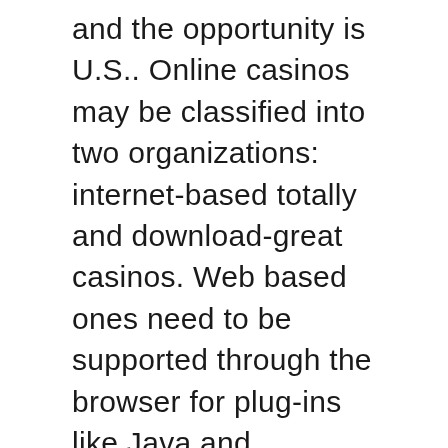and the opportunity is U.S.. Online casinos may be classified into two organizations: internet-based totally and download-great casinos. Web based ones need to be supported through the browser for plug-ins like Java and Macromedia Flash. The latter may be treated with out browser-assist and are faster than the net-based totally casinos. You can be part of up for a gaming net page and get the advantage of customer support device they provide. These on line revolutionary jackpots are amusing to play and offer a big